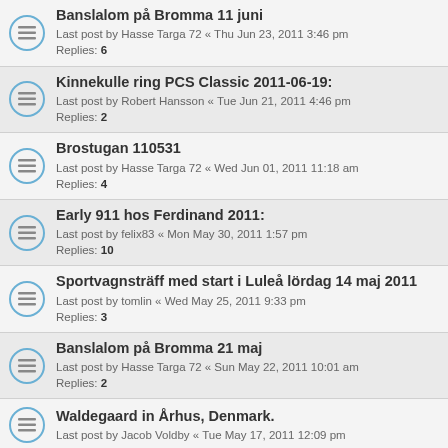Banslalom på Bromma 11 juni
Last post by Hasse Targa 72 « Thu Jun 23, 2011 3:46 pm
Replies: 6
Kinnekulle ring PCS Classic 2011-06-19:
Last post by Robert Hansson « Tue Jun 21, 2011 4:46 pm
Replies: 2
Brostugan 110531
Last post by Hasse Targa 72 « Wed Jun 01, 2011 11:18 am
Replies: 4
Early 911 hos Ferdinand 2011:
Last post by felix83 « Mon May 30, 2011 1:57 pm
Replies: 10
Sportvagnsträff med start i Luleå lördag 14 maj 2011
Last post by tomlin « Wed May 25, 2011 9:33 pm
Replies: 3
Banslalom på Bromma 21 maj
Last post by Hasse Targa 72 « Sun May 22, 2011 10:01 am
Replies: 2
Waldegaard in Århus, Denmark.
Last post by Jacob Voldby « Tue May 17, 2011 12:09 pm
PCS Slalom Bromma 30 april
Last post by Homegrown « Thu May 05, 2011 9:40 am
Replies: 2
Techno Classica Essen 2011
Last post by Tomlargo « Mon Apr 04, 2011 5:59 pm
Replies: 7
il caffè Midnight run 2010